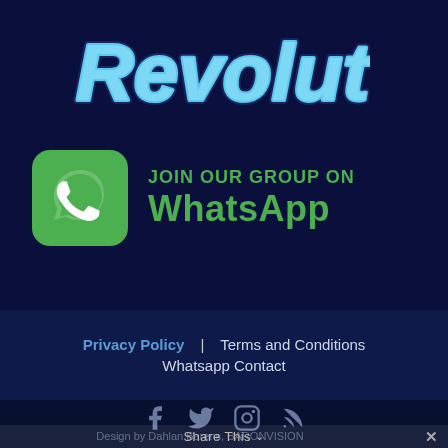Revolut
[Figure (logo): WhatsApp logo icon (green rounded square with white phone handset) alongside text 'JOIN OUR GROUP ON WhatsApp' in green]
JOIN OUR GROUP ON
WhatsApp
Privacy Policy   Terms and Conditions
Whatsapp Contact
[Figure (infographic): Social media icons: Facebook, Twitter, Instagram, RSS feed in grey-blue]
Design by Dahlan Barens, BARONVISION
Share This ∨  ✕